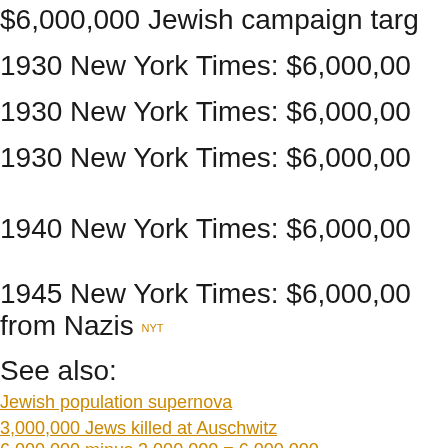$6,000,000 Jewish campaign targ...
1930 New York Times: $6,000,00...
1930 New York Times: $6,000,00...
1930 New York Times: $6,000,00...
1940 New York Times: $6,000,00...
1945 New York Times: $6,000,00... from Nazis NYT
See also:
Jewish population supernova
3,000,000 Jews killed at Auschwitz
6,000,000 minus 3,000,000 = 6,000,000
The 6,000,000 figure established long before W...
Was the holocaust expected by the New York T...
The Kabbalah, gematria, Jewish Magic & the h...
The 6,000,000 figure of Jews killed by the Na...
Posted by The Black Rabbit of Inlé at 10:01